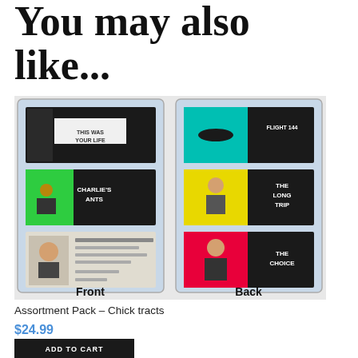You may also like...
[Figure (photo): Product photo showing front and back of an Assortment Pack of Chick tracts in plastic clamshell packaging. Front shows 3 tracts, back shows 3 tracts including 'FLIGHT 144', 'CHARLIE'S ANTS', 'THE LONG TRIP', 'THE CHOICE', and others. Labels 'Front' and 'Back' appear below each side.]
Assortment Pack – Chick tracts
$24.99
ADD TO CART